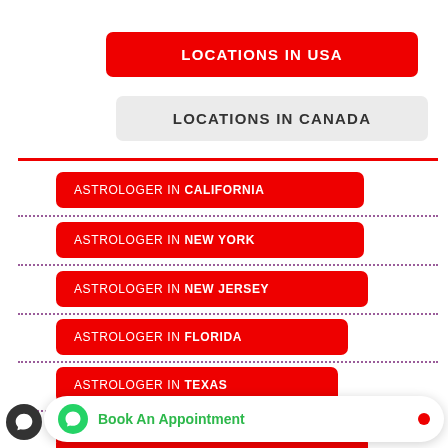LOCATIONS IN USA
LOCATIONS IN CANADA
ASTROLOGER IN CALIFORNIA
ASTROLOGER IN NEW YORK
ASTROLOGER IN NEW JERSEY
ASTROLOGER IN FLORIDA
ASTROLOGER IN TEXAS
ASTROLOGER IN ILLINOIS
ASTROLOGER IN MISSOURI
Book An Appointment